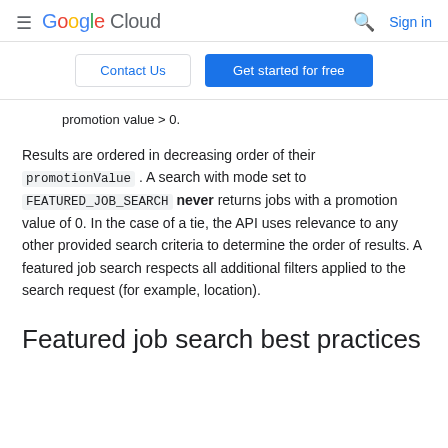≡ Google Cloud   🔍  Sign in
Contact Us   Get started for free
promotion value > 0.
Results are ordered in decreasing order of their promotionValue . A search with mode set to FEATURED_JOB_SEARCH never returns jobs with a promotion value of 0. In the case of a tie, the API uses relevance to any other provided search criteria to determine the order of results. A featured job search respects all additional filters applied to the search request (for example, location).
Featured job search best practices